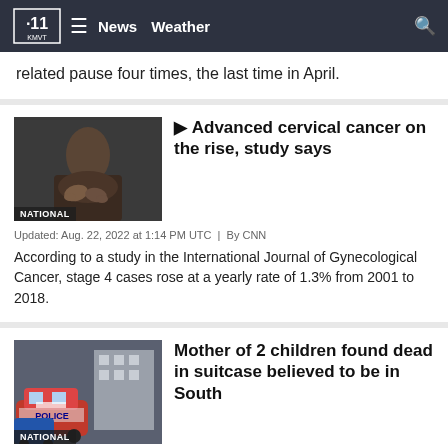KMVT 11 | News | Weather
related pause four times, the last time in April.
[Figure (photo): Person with hands clasped, labeled NATIONAL]
Advanced cervical cancer on the rise, study says
Updated: Aug. 22, 2022 at 1:14 PM UTC  |  By CNN
According to a study in the International Journal of Gynecological Cancer, stage 4 cases rose at a yearly rate of 1.3% from 2001 to 2018.
[Figure (photo): Police cars outside a building, labeled NATIONAL]
Mother of 2 children found dead in suitcase believed to be in South Korea, police say
Updated: Aug. 22, 2022 at 1:01 PM UTC  |  By CNN